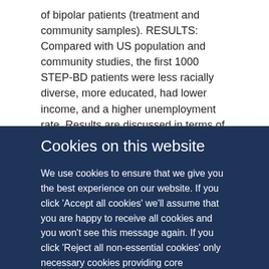of bipolar patients (treatment and community samples). RESULTS: Compared with US population and community studies, the first 1000 STEP-BD patients were less racially diverse, more educated, had lower income, and a higher unemployment rate. Results are discussed in terms of the contributions of STEP-BD (and other large-scale treatment studies) in understanding the nature, treatments, and outcomes of bipolar disorder for patients seeking care at academic treatment centers. CONCLUSIONS: The current
Cookies on this website
We use cookies to ensure that we give you the best experience on our website. If you click 'Accept all cookies' we'll assume that you are happy to receive all cookies and you won't see this message again. If you click 'Reject all non-essential cookies' only necessary cookies providing core functionality such as security, network management, and accessibility will be enabled. Click 'Find out more' for information on how to change your cookie settings.